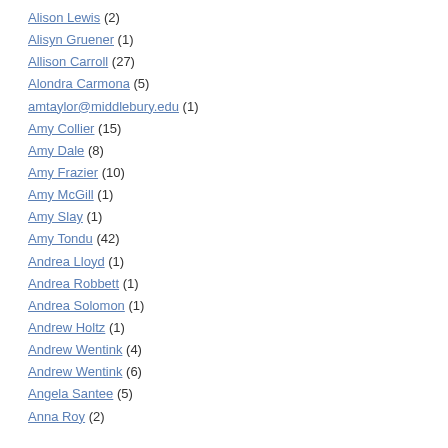Alison Lewis (2)
Alisyn Gruener (1)
Allison Carroll (27)
Alondra Carmona (5)
amtaylor@middlebury.edu (1)
Amy Collier (15)
Amy Dale (8)
Amy Frazier (10)
Amy McGill (1)
Amy Slay (1)
Amy Tondu (42)
Andrea Lloyd (1)
Andrea Robbett (1)
Andrea Solomon (1)
Andrew Holtz (1)
Andrew Wentink (4)
Andrew Wentink (6)
Angela Santee (5)
Anna Roy (2)